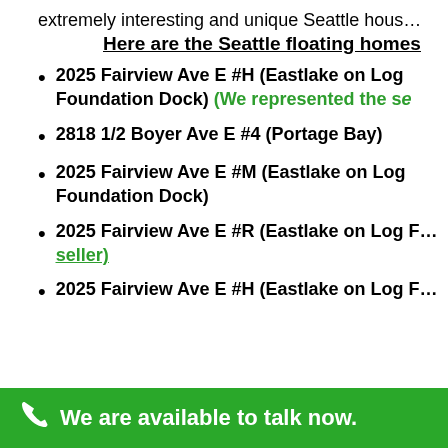extremely interesting and unique Seattle hous…
Here are the Seattle floating homes
2025 Fairview Ave E #H (Eastlake on Log Foundation Dock) (We represented the se…)
2818 1/2 Boyer Ave E #4 (Portage Bay)
2025 Fairview Ave E #M (Eastlake on Log Foundation Dock)
2025 Fairview Ave E #R (Eastlake on Log … seller)
2025 Fairview Ave E #H (Eastlake on Log …
We are available to talk now.